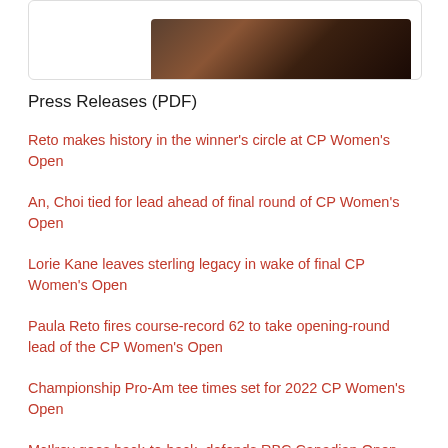[Figure (photo): Partial screenshot of a webpage with a Canada logo visible and a dark image at the bottom]
Press Releases (PDF)
Reto makes history in the winner’s circle at CP Women’s Open
An, Choi tied for lead ahead of final round of CP Women’s Open
Lorie Kane leaves sterling legacy in wake of final CP Women’s Open
Paula Reto fires course-record 62 to take opening-round lead of the CP Women’s Open
Championship Pro-Am tee times set for 2022 CP Women’s Open
McIlroy goes back-to-back, defends RBC Canadian Open